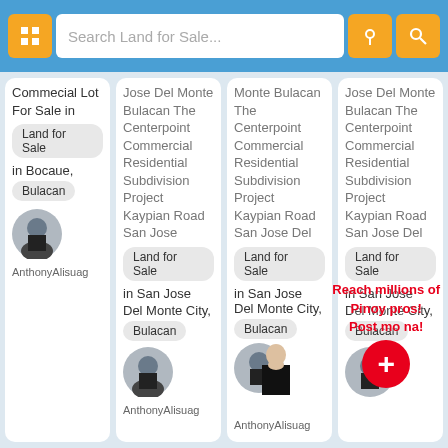Search Land for Sale...
Commecial Lot For Sale in | Land for Sale | in Bocaue, | Bulacan | AnthonyAlisuag
Jose Del Monte Bulacan The Centerpoint Commercial Residential Subdivision Project Kaypian Road San Jose | Land for Sale | in San Jose | Del Monte City, | Bulacan | AnthonyAlisuag
Monte Bulacan The Centerpoint Commercial Residential Subdivision Project Kaypian Road San Jose Del | Land for Sale | in San Jose Del Monte City, | Bulacan | AnthonyAlisuag
Jose Del Monte Bulacan The Centerpoint Commercial Residential Subdivision Project Kaypian Road San Jose Del | Land for Sale | in San Jose Del Monte City, | Bulacan
Reach millions of Pinoy pros! Post mo na!